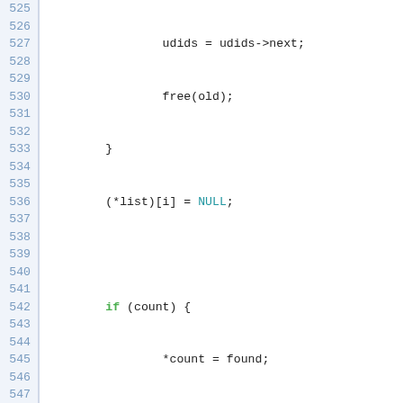[Figure (screenshot): Source code screenshot showing C code lines 525-554, with syntax highlighting. Line numbers in blue on the left, keywords in green, identifiers in black/dark, special values like NULL in blue.]